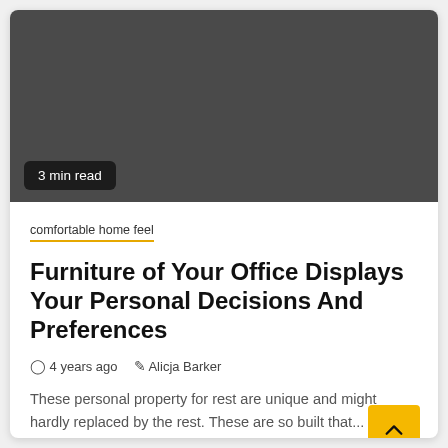[Figure (photo): Dark gray placeholder image area for article header photo]
3 min read
comfortable home feel
Furniture of Your Office Displays Your Personal Decisions And Preferences
4 years ago   Alicja Barker
These personal property for rest are unique and might hardly replaced by the rest. These are so built that...